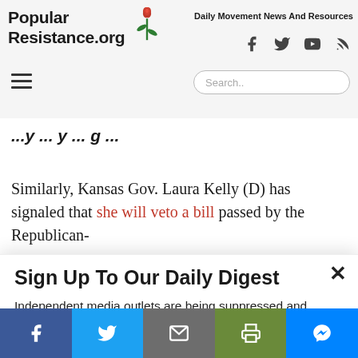Popular Resistance.org — Daily Movement News And Resources
Similarly, Kansas Gov. Laura Laura Kelly (D) has signaled that she will veto a bill passed by the Republican-
Sign Up To Our Daily Digest
Independent media outlets are being suppressed and dropped by corporations like Google, Facebook and Twitter. Sign up for our daily email digest before it's too late so you don't miss the latest movement news.
Email